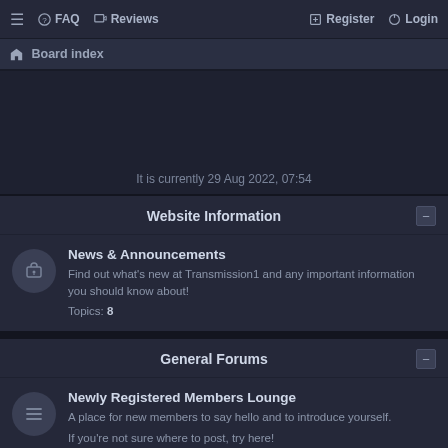≡  FAQ  Reviews  Register  Login
🏠 Board index
It is currently 29 Aug 2022, 07:54
Website Information
News & Announcements
Find out what's new at Transmission1 and any important information you should know about!
Topics: 8
General Forums
Newly Registered Members Lounge
A place for new members to say hello and to introduce yourself.

If you're not sure where to post, try here!
Topics: 2417